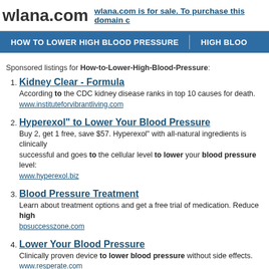wlana.com   wlana.com is for sale. To purchase this domain c…
HOW TO LOWER HIGH BLOOD PRESSURE   HIGH BLOO…
Sponsored listings for How-to-Lower-High-Blood-Pressure:
1. Kidney Clear - Formula
According to the CDC kidney disease ranks in top 10 causes for death.
www.instituteforvibrantliving.com
2. Hyperexol" to Lower Your Blood Pressure
Buy 2, get 1 free, save $57. Hyperexol" with all-natural ingredients is clinically successful and goes to the cellular level to lower your blood pressure level…
www.hyperexol.biz
3. Blood Pressure Treatment
Learn about treatment options and get a free trial of medication. Reduce high…
bpsuccesszone.com
4. Lower Your Blood Pressure
Clinically proven device to lower blood pressure without side effects.
www.resperate.com
5. Mrs. Dash Salt-Free Diets
Use Mrs. Dash salt-free seasoning blends in your blood pressure diet.
www.mrsdash.com
6. Lower High Blood Pressure Naturally…